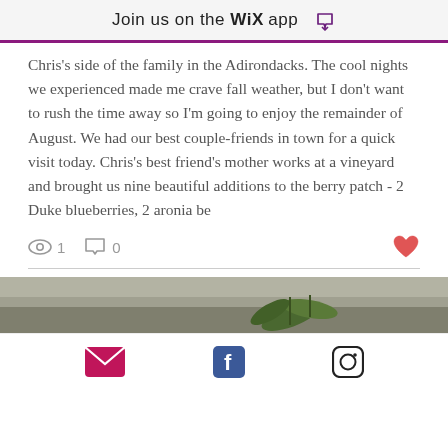Join us on the WiX app
Chris's side of the family in the Adirondacks. The cool nights we experienced made me crave fall weather, but I don't want to rush the time away so I'm going to enjoy the remainder of August. We had our best couple-friends in town for a quick visit today. Chris's best friend's mother works at a vineyard and brought us nine beautiful additions to the berry patch - 2 Duke blueberries, 2 aronia be
[Figure (infographic): Social engagement row with eye icon showing 1 view, comment icon showing 0 comments, and a heart/like icon on the right]
[Figure (photo): Photo strip showing a plant with green leaves against a grey textured background]
[Figure (infographic): Bottom navigation bar with email envelope icon (pink/magenta), Facebook icon (blue), and Instagram icon (black outline)]